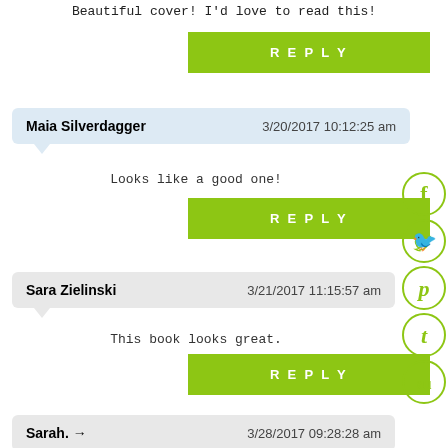Beautiful cover! I'd love to read this!
[Figure (other): Green REPLY button]
Maia Silverdagger   3/20/2017 10:12:25 am
Looks like a good one!
[Figure (other): Green REPLY button]
Sara Zielinski   3/21/2017 11:15:57 am
This book looks great.
[Figure (other): Green REPLY button]
Sarah. →   3/28/2017 09:28:28 am